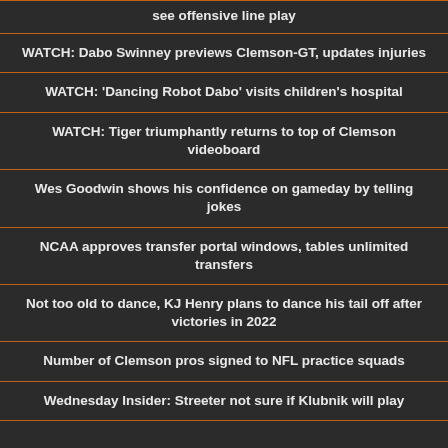see offensive line play
WATCH: Dabo Swinney previews Clemson-GT, updates injuries
WATCH: 'Dancing Robot Dabo' visits children's hospital
WATCH: Tiger triumphantly returns to top of Clemson videoboard
Wes Goodwin shows his confidence on gameday by telling jokes
NCAA approves transfer portal windows, tables unlimited transfers
Not too old to dance, KJ Henry plans to dance his tail off after victories in 2022
Number of Clemson pros signed to NFL practice squads
Wednesday Insider: Streeter not sure if Klubnik will play